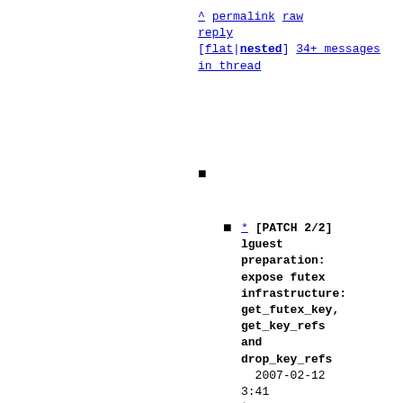^ permalink raw reply [flat|nested] 34+ messages in thread
■
■ * [PATCH 2/2] lguest preparation: expose futex infrastructure: get_futex_key, get_key_refs and drop_key_refs  2007-02-12 3:41  ` [PATCH 1/2] lguest preparation: EXPORT_SYMBOL_GPL 5 functions  Rusty Russell @ 2007-02-12 3:42   ` Rusty Russell    2007-02-12